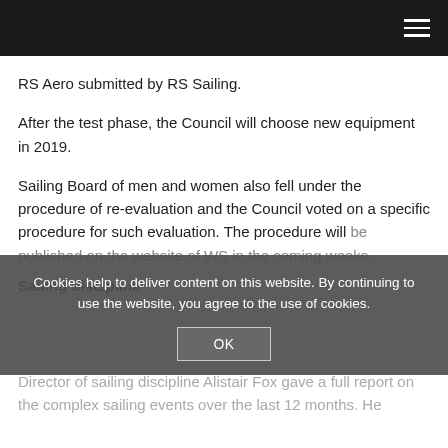RS Aero submitted by RS Sailing.
After the test phase, the Council will choose new equipment in 2019.
Sailing Board of men and women also fell under the procedure of re-evaluation and the Council voted on a specific procedure for such evaluation. The procedure will be published on the website of WS in the coming weeks.
Sailing discipline
Director of sailing discipline Alistair Fox gave a full report on the complex sailing events over the last 12 months. He
Cookies help to deliver content on this website. By continuing to use the website, you agree to the use of cookies.
OK